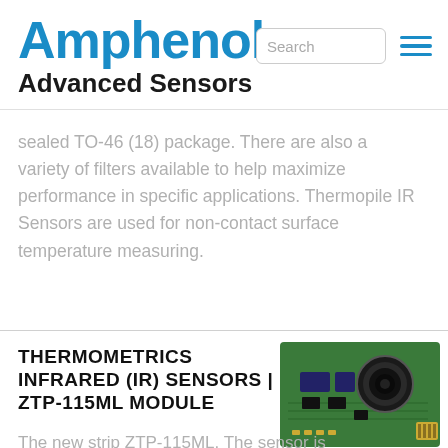Amphenol Advanced Sensors
sealed TO-46 (18) package. There are also a variety of filters available to help maximize performance in specific applications. Thermopile IR Sensors are used for non-contact surface temperature measuring.
THERMOMETRICS INFRARED (IR) SENSORS | ZTP-115ML MODULE
[Figure (photo): Green PCB module with a lens — ZTP-115ML infrared sensor module]
The new strip ZTP-115ML. The sensor is...